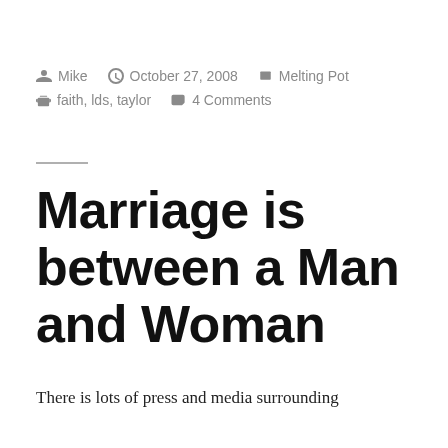By Mike  October 27, 2008  Melting Pot  faith, lds, taylor  4 Comments
Marriage is between a Man and Woman
There is lots of press and media surrounding